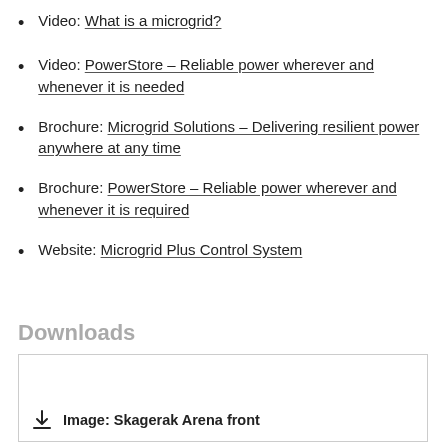Video: What is a microgrid?
Video: PowerStore – Reliable power wherever and whenever it is needed
Brochure: Microgrid Solutions – Delivering resilient power anywhere at any time
Brochure: PowerStore – Reliable power wherever and whenever it is required
Website: Microgrid Plus Control System
Downloads
Image: Skagerak Arena front